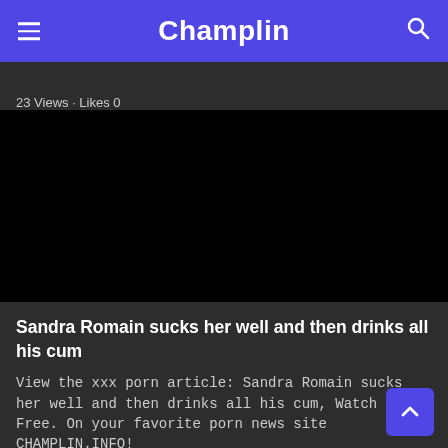Champlin
23 Views · Likes 0
[Figure (other): Black video player area]
Sandra Romain sucks her well and then drinks all his cum
View the xxx porn article: Sandra Romain sucks her well and then drinks all his cum, Watch Porn Free. On your favorite porn news site CHAMPLIN.INFO!
23 Views · Likes 0